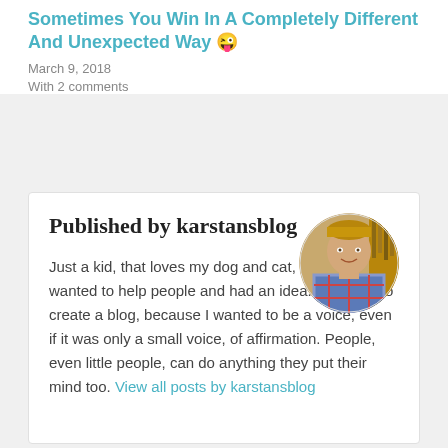Sometimes You Win In A Completely Different And Unexpected Way 😜
March 9, 2018
With 2 comments
Published by karstansblog
[Figure (photo): Round profile photo of a young person smiling, wearing a plaid shirt, with bookshelves in the background.]
Just a kid, that loves my dog and cat, loves music, wanted to help people and had an idea. I decided to create a blog, because I wanted to be a voice, even if it was only a small voice, of affirmation. People, even little people, can do anything they put their mind too. View all posts by karstansblog